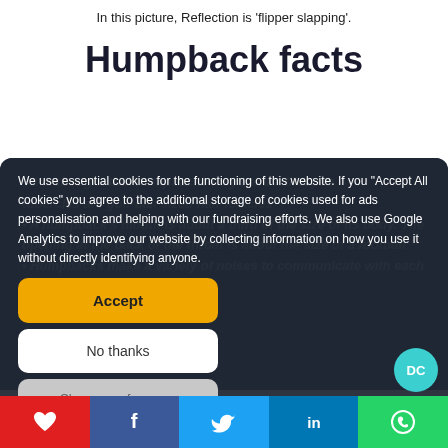In this picture, Reflection is 'flipper slapping'.
Humpback facts
We use essential cookies for the functioning of this website. If you "Accept All cookies" you agree to the additional storage of cookies used for ads personalisation and helping with our fundraising efforts. We also use Google Analytics to improve our website by collecting information on how you use it without directly identifying anyone.
It is thought that humpbacks may have a lifespan...
...tubercles are golf-ball sized hair follicles
A humpback's mouth is about a third of the size of its body. The opening at the back of the throat is about the size of a football
Humpbacks make a variety of noises to communicate with each other
[Figure (screenshot): Social sharing bar with heart/like, Facebook, Twitter, LinkedIn, WhatsApp buttons]